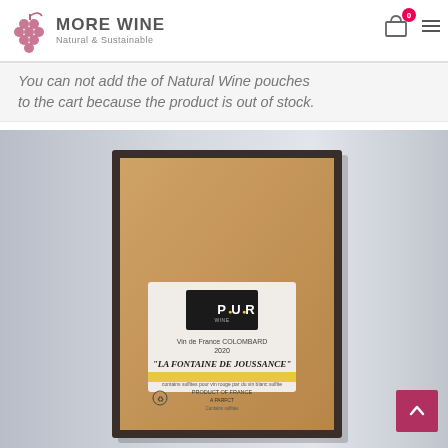MORE WINE
Natural & Sustainable
You can not add the of Natural Wine pouches to the cart because the product is out of stock.
[Figure (photo): A kraft cardboard box of natural wine featuring a white label with POUR branding and the text 'Vin de France COLOMBARD 2020 LA FONTAINE DE JOUSSANCE', photographed against a light gray metallic background.]